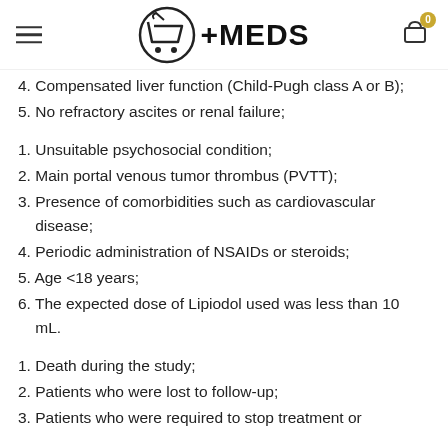EMEDS
4. Compensated liver function (Child-Pugh class A or B);
5. No refractory ascites or renal failure;
1. Unsuitable psychosocial condition;
2. Main portal venous tumor thrombus (PVTT);
3. Presence of comorbidities such as cardiovascular disease;
4. Periodic administration of NSAIDs or steroids;
5. Age <18 years;
6. The expected dose of Lipiodol used was less than 10 mL.
1. Death during the study;
2. Patients who were lost to follow-up;
3. Patients who were required to stop treatment or